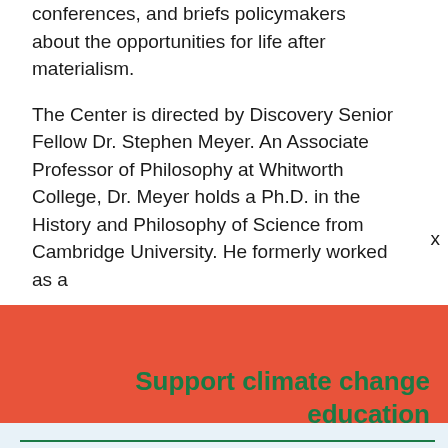conferences, and briefs policymakers about the opportunities for life after materialism.
The Center is directed by Discovery Senior Fellow Dr. Stephen Meyer. An Associate Professor of Philosophy at Whitworth College, Dr. Meyer holds a Ph.D. in the History and Philosophy of Science from Cambridge University. He formerly worked as a
Support climate change education